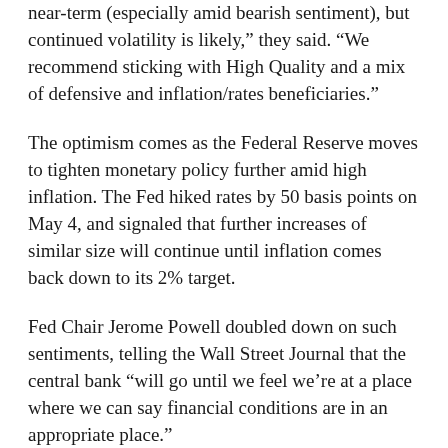near-term (especially amid bearish sentiment), but continued volatility is likely,” they said. “We recommend sticking with High Quality and a mix of defensive and inflation/rates beneficiaries.”
The optimism comes as the Federal Reserve moves to tighten monetary policy further amid high inflation. The Fed hiked rates by 50 basis points on May 4, and signaled that further increases of similar size will continue until inflation comes back down to its 2% target.
Fed Chair Jerome Powell doubled down on such sentiments, telling the Wall Street Journal that the central bank “will go until we feel we’re at a place where we can say financial conditions are in an appropriate place.”
But some of the underlying factors behind inflation may be out of the central bank’s control, with BlackRock’s Larry Fink saying much of the current situation has more